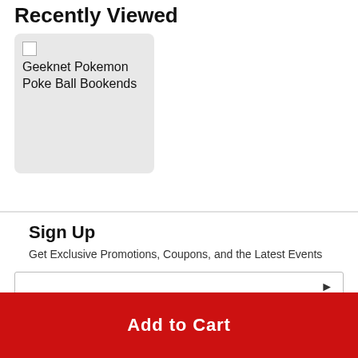Recently Viewed
[Figure (other): Product card showing a broken image placeholder and the text 'Geeknet Pokemon Poke Ball Bookends' on a light gray background]
Sign Up
Get Exclusive Promotions, Coupons, and the Latest Events
Add to Cart